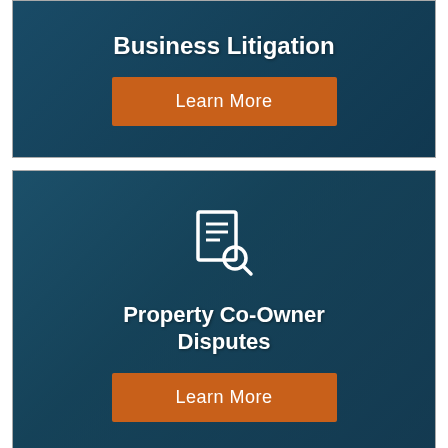[Figure (infographic): Business Litigation card with dark blue background showing a laptop/globe scene. Contains large bold white title 'Business Litigation' (partially visible at top) and an orange 'Learn More' button.]
[Figure (infographic): Property Co-Owner Disputes card with dark teal background showing a gavel and house model scene. Contains a document/search icon at top, bold white title 'Property Co-Owner Disputes', and an orange 'Learn More' button.]